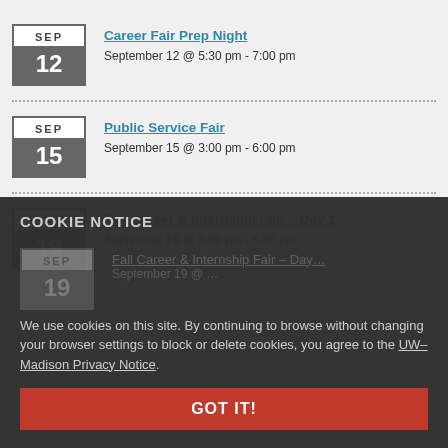Career Fair Prep Night
September 12 @ 5:30 pm - 7:00 pm
Public Service Fair
September 15 @ 3:00 pm - 6:00 pm
Fall Career & Internship Fair – Day 1
September 19 @ 3:00 pm - 6:30 pm
COOKIE NOTICE
We use cookies on this site. By continuing to browse without changing your browser settings to block or delete cookies, you agree to the UW–Madison Privacy Notice.
GOT IT!